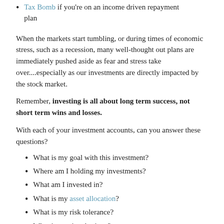Tax Bomb if you're on an income driven repayment plan
When the markets start tumbling, or during times of economic stress, such as a recession, many well-thought out plans are immediately pushed aside as fear and stress take over....especially as our investments are directly impacted by the stock market.
Remember, investing is all about long term success, not short term wins and losses.
With each of your investment accounts, can you answer these questions?
What is my goal with this investment?
Where am I holding my investments?
What am I invested in?
What is my asset allocation?
What is my risk tolerance?
What is my time horizon?
What is my investment strategy?
If you cannot confidently answer these questions about your